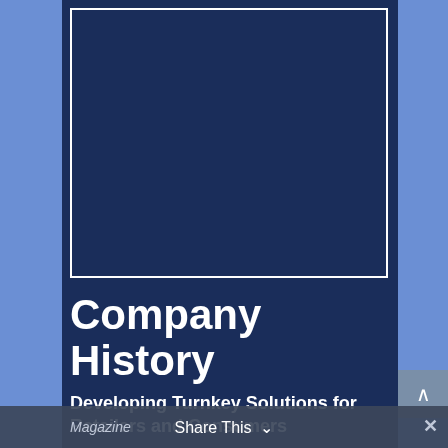[Figure (illustration): Dark navy blue rectangular image placeholder with white border, taking up approximately the top 60% of the central content area.]
Company History
Developing Turnkey Solutions for Retailers and Consumers
By Eliahu Sussman, Musical Merchandise Review Magazine
Magazine   Share This ∨  ×